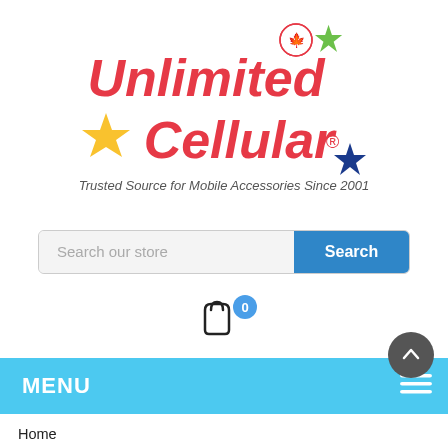[Figure (logo): Unlimited Cellular logo with stars and Canadian flag icon. Text: 'Unlimited Cellular® — Trusted Source for Mobile Accessories Since 2001']
[Figure (other): Search bar with placeholder 'Search our store' and a blue Search button]
[Figure (other): Shopping bag icon with blue circle showing '0']
MENU
Home > Vertik Universal Pouch for Motorola C343, Nokia 6016I, Sanyo RL4920, and Sony Ericsson T310 (Metallic Blue)